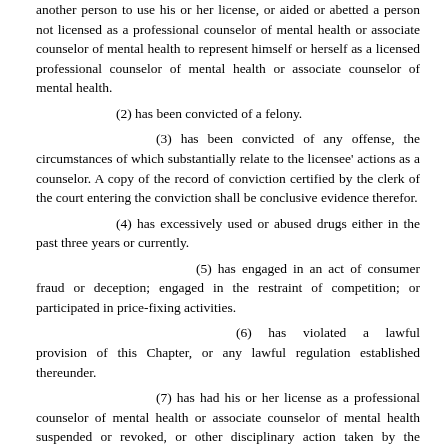another person to use his or her license, or aided or abetted a person not licensed as a professional counselor of mental health or associate counselor of mental health to represent himself or herself as a licensed professional counselor of mental health or associate counselor of mental health.
(2) has been convicted of a felony.
(3) has been convicted of any offense, the circumstances of which substantially relate to the licensee' actions as a counselor. A copy of the record of conviction certified by the clerk of the court entering the conviction shall be conclusive evidence therefor.
(4) has excessively used or abused drugs either in the past three years or currently.
(5) has engaged in an act of consumer fraud or deception; engaged in the restraint of competition; or participated in price-fixing activities.
(6) has violated a lawful provision of this Chapter, or any lawful regulation established thereunder.
(7) has had his or her license as a professional counselor of mental health or associate counselor of mental health suspended or revoked, or other disciplinary action taken by the appropriate licensing authority in another jurisdiction; provided, however, that the underlying grounds for such action in another